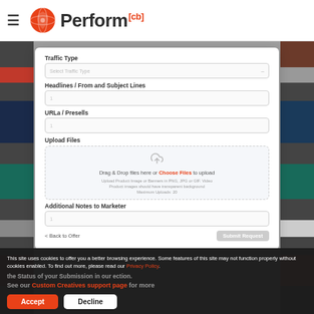Perform[cb]
[Figure (screenshot): Web form with fields: Traffic Type (dropdown), Headlines / From and Subject Lines (text input), URLa / Presells (text input), Upload Files (drag and drop area), Additional Notes to Marketer (text input), with Back to Offer and Submit Request buttons]
This site uses cookies to offer you a better browsing experience. Some features of this site may not function properly without cookies enabled. To find out more, please read our Privacy Policy.
Once Submitted, Please Review and Track the Status of your Submission in our Custom Creatives section.
See our Custom Creatives support page for more
Accept
Decline